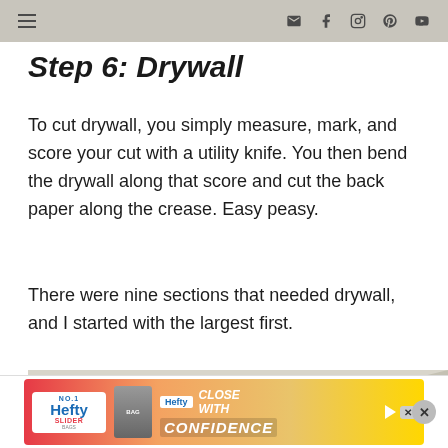navigation bar with menu and social icons
Step 6: Drywall
To cut drywall, you simply measure, mark, and score your cut with a utility knife. You then bend the drywall along that score and cut the back paper along the crease. Easy peasy.
There were nine sections that needed drywall, and I started with the largest first.
[Figure (photo): Photo of drywall installed in an interior corner of a room, showing sheets screwed into framing]
[Figure (other): Hefty Slider advertisement banner with 'Close With Confidence' tagline]